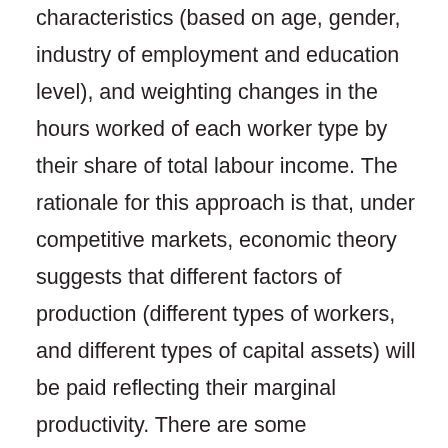characteristics (based on age, gender, industry of employment and education level), and weighting changes in the hours worked of each worker type by their share of total labour income. The rationale for this approach is that, under competitive markets, economic theory suggests that different factors of production (different types of workers, and different types of capital assets) will be paid reflecting their marginal productivity. There are some circumstances where this assumption would not be appropriate, such as where there is significant monopsony in employment markets, or where an industry operates as an oligopoly, as noted in O'Mahony and Timmer (2009). But in general, it is reasonable to expect that on average, more highly paid workers contribute more to